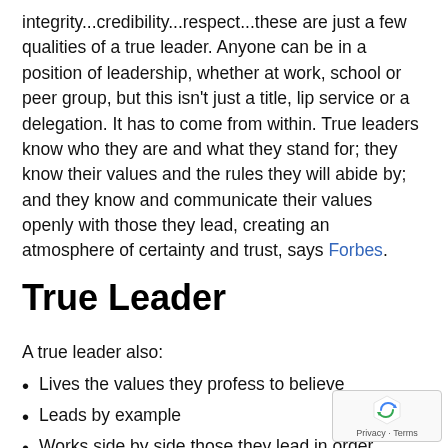integrity...credibility...respect...these are just a few qualities of a true leader. Anyone can be in a position of leadership, whether at work, school or peer group, but this isn't just a title, lip service or a delegation. It has to come from within. True leaders know who they are and what they stand for; they know their values and the rules they will abide by; and they know and communicate their values openly with those they lead, creating an atmosphere of certainty and trust, says Forbes.
True Leader
A true leader also:
Lives the values they profess to believe
Leads by example
Works side by side those they lead in order get to know and care about them